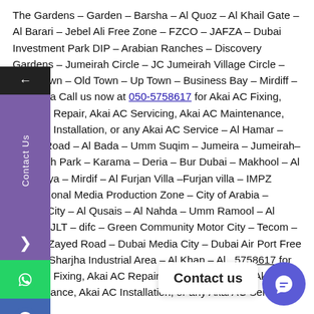The Gardens – Garden – Barsha – Al Quoz – Al Khail Gate – Al Barari – Jebel Ali Free Zone – FZCO – JAFZA – Dubai Investment Park DIP – Arabian Ranches – Discovery Gardens – Jumeirah Circle – JC Jumeirah Village Circle – Downtown – Old Town – Up Town – Business Bay – Mirdiff – Al Warqa Call us now at 050-5758617 for Akai AC Fixing, Akai AC Repair, Akai AC Servicing, Akai AC Maintenance, Akai AC Installation, or any Akai AC Service – Al Hamar – Wasal Road – Al Bada – Umm Suqim – Jumeira – Jumeirah– Jumeirah Park – Karama – Deria – Bur Dubai – Makhool – Al Rashidiya – Mirdif – Al Furjan Villa –Furjan villa – IMPZ International Media Production Zone – City of Arabia – Silicon City – Al Qusais – Al Nahda – Umm Ramool – Al Jadaf – JLT – difc – Green Community Motor City – Tecom – Sheikh Zayed Road – Dubai Media City – Dubai Air Port Free Zone – Sharjha Industrial Area – Al Khan – Al  for Akai AC Fixing, Akai AC Repair, Akai AC Servicing, Akai AC Maintenance, Akai AC Installation, or any Akai AC Service